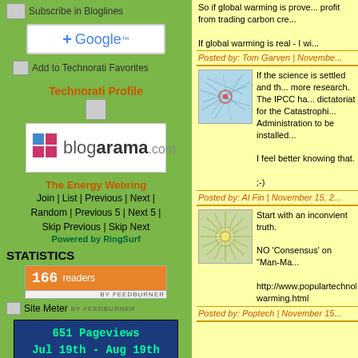Subscribe in Bloglines
[Figure (logo): Google +1 button]
Add to Technorati Favorites
Technorati Profile
[Figure (logo): Blogarama.com banner]
The Energy Webring
Join | List | Previous | Next | Random | Previous 5 | Next 5 | Skip Previous | Skip Next
Powered by RingSurf
STATISTICS
[Figure (other): FeedBurner 166 readers badge]
Site Meter BY FEEDBURNER
[Figure (infographic): 651 Pageviews Jul 19th - Aug 19th with world map]
So if global warming is prove... profit from trading carbon cre...
If global warming is real - I wi...
Posted by: Tom Garven | Novembe...
[Figure (other): Network/map avatar thumbnail blue]
If the science is settled and th... more research. The IPCC ha... dictatoriat for the Catastrophi... Administration to be installed...
I feel better knowing that.
;-)
Posted by: Al Fin | November 15, 2...
[Figure (other): Starburst pattern green avatar thumbnail]
Start with an inconvient truth.
NO 'Consensus' on "Man-Ma...
http://www.populartechnology... warming.html
Posted by: Poptech | November 15...